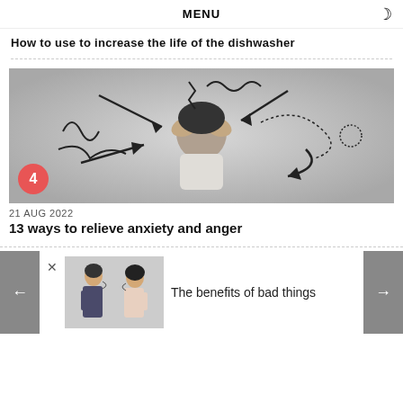MENU
How to use to increase the life of the dishwasher
[Figure (illustration): Person holding head with hands surrounded by drawn arrows and scribbles indicating stress/anxiety, on grey background. A red circle badge with number 4 appears in the bottom-left corner.]
21 AUG 2022
13 ways to relieve anxiety and anger
[Figure (photo): Two people facing each other arguing, a man in suit and a woman, on white background. Banner ad for 'The benefits of bad things'.]
The benefits of bad things